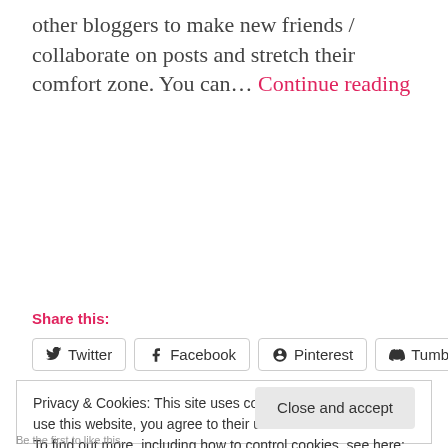other bloggers to make new friends / collaborate on posts and stretch their comfort zone. You can... Continue reading
Share this:
Twitter  Facebook  Pinterest  Tumblr
Privacy & Cookies: This site uses cookies. By continuing to use this website, you agree to their use.
To find out more, including how to control cookies, see here:
Cookie Policy
Close and accept
Be the first to like this.